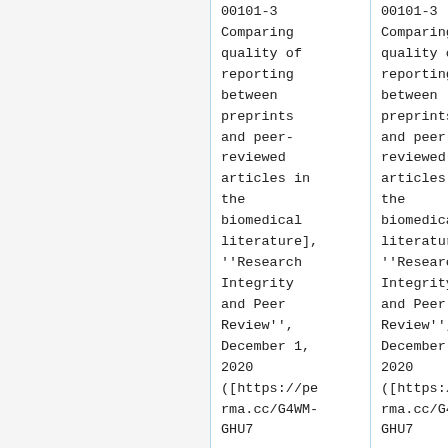|  | 00101-3 Comparing quality of reporting between preprints and peer-reviewed articles in the biomedical literature], ''Research Integrity and Peer Review'', December 1, 2020 ([https://perma.cc/G4WM-GHU7 | 00101-3 Comparing quality of reporting between preprints and peer-reviewed articles in the biomedical literature], ''Research Integrity and Peer Review'', December 1, 2020 ([https://perma.cc/G4WM-GHU7 |